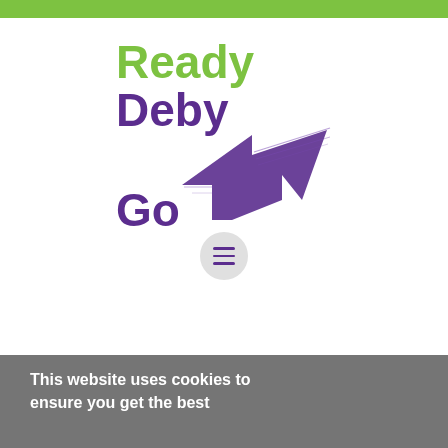[Figure (logo): Ready Deby Go logo with green 'Ready' text, purple 'Deby Go' text, and a purple arrow pointing upper-right]
[Figure (other): Hamburger menu button: circular grey button with three purple horizontal lines]
This website uses cookies to ensure you get the best